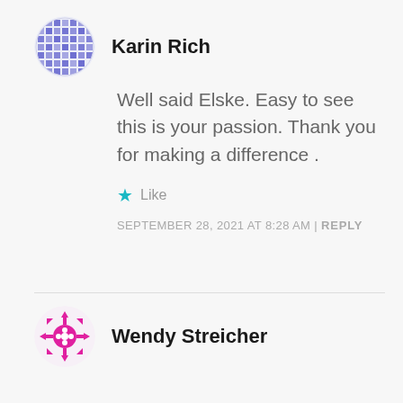[Figure (illustration): Blue geometric globe avatar for Karin Rich]
Karin Rich
Well said Elske. Easy to see this is your passion. Thank you for making a difference .
★ Like
SEPTEMBER 28, 2021 AT 8:28 AM | REPLY
[Figure (illustration): Magenta/pink geometric snowflake/cross avatar for Wendy Streicher]
Wendy Streicher